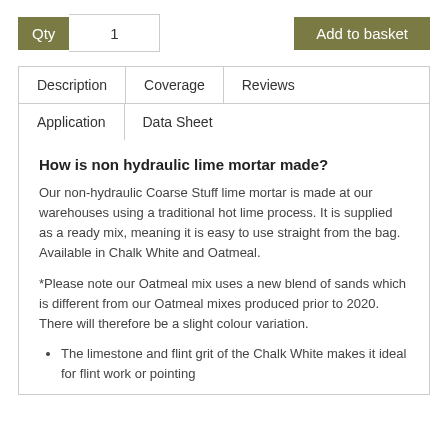Qty  1   Add to basket
| Description | Coverage | Reviews | Application | Data Sheet |
| --- | --- | --- | --- | --- |
How is non hydraulic lime mortar made?
Our non-hydraulic Coarse Stuff lime mortar is made at our warehouses using a traditional hot lime process. It is supplied as a ready mix, meaning it is easy to use straight from the bag. Available in Chalk White and Oatmeal.
*Please note our Oatmeal mix uses a new blend of sands which is different from our Oatmeal mixes produced prior to 2020. There will therefore be a slight colour variation.
The limestone and flint grit of the Chalk White makes it ideal for flint work or pointing